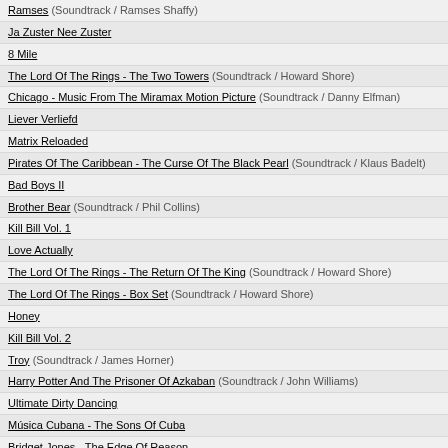Ramses (Soundtrack / Ramses Shaffy)
Ja Zuster Nee Zuster
8 Mile
The Lord Of The Rings - The Two Towers (Soundtrack / Howard Shore)
Chicago - Music From The Miramax Motion Picture (Soundtrack / Danny Elfman)
Liever Verliefd
Matrix Reloaded
Pirates Of The Caribbean - The Curse Of The Black Pearl (Soundtrack / Klaus Badelt)
Bad Boys II
Brother Bear (Soundtrack / Phil Collins)
Kill Bill Vol. 1
Love Actually
The Lord Of The Rings - The Return Of The King (Soundtrack / Howard Shore)
The Lord Of The Rings - Box Set (Soundtrack / Howard Shore)
Honey
Kill Bill Vol. 2
Troy (Soundtrack / James Horner)
Harry Potter And The Prisoner Of Azkaban (Soundtrack / John Williams)
Ultimate Dirty Dancing
Música Cubana - The Sons Of Cuba
Bridget Jones - The Edge Of Reason
Ray (Soundtrack / Ray Charles)
Star Wars: Episode III - Revenge Of The Sith (Soundtrack / John Williams)
The Bootleg Series Vol. 7: No Direction Home (Soundtrack / Bob Dylan)
Beauty And The Beast
Get Rich Or Die Tryin' (Soundtrack / 50 Cent)